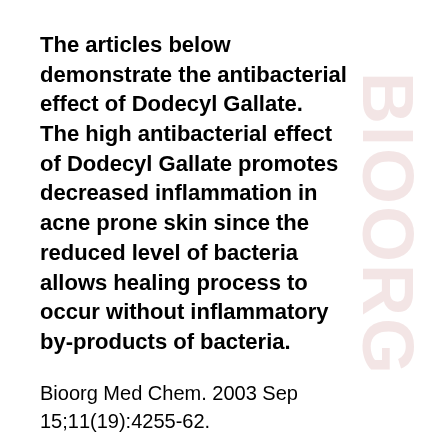The articles below demonstrate the antibacterial effect of Dodecyl Gallate.  The high antibacterial effect of Dodecyl Gallate promotes decreased inflammation in acne prone skin since the reduced level of bacteria allows healing process to occur without inflammatory by-products of bacteria.
Bioorg Med Chem. 2003 Sep 15;11(19):4255-62.